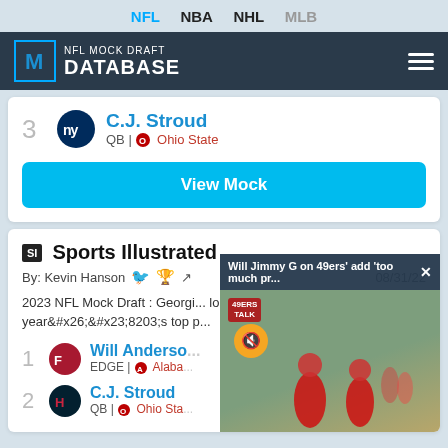NFL  NBA  NHL  MLB
[Figure (logo): NFL Mock Draft Database logo with hamburger menu]
3  C.J. Stroud  QB | Ohio State
View Mock
Sports Illustrated
By: Kevin Hanson  08/31/22
2023 NFL Mock Draft : Georgia... look at how this year's top p...
1  Will Anderson  EDGE | Alaba...
2  C.J. Stroud  QB | Ohio Sta...
[Figure (screenshot): Video overlay: Will Jimmy G on 49ers' add 'too much pr...' with field scene showing football players in red/black uniforms]